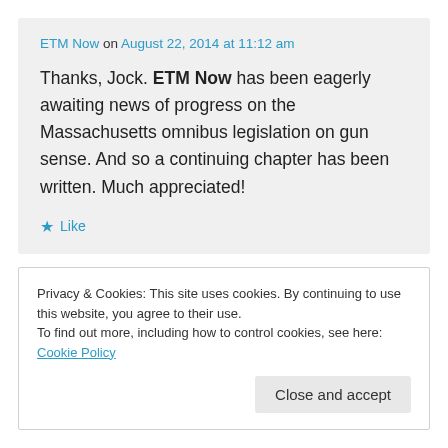ETM Now on August 22, 2014 at 11:12 am
Thanks, Jock. ETM Now has been eagerly awaiting news of progress on the Massachusetts omnibus legislation on gun sense. And so a continuing chapter has been written. Much appreciated!
★ Like
Privacy & Cookies: This site uses cookies. By continuing to use this website, you agree to their use.
To find out more, including how to control cookies, see here: Cookie Policy
Close and accept